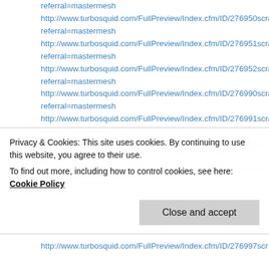referral=mastermesh
http://www.turbosquid.com/FullPreview/Index.cfm/ID/276950scrapes referral=mastermesh
http://www.turbosquid.com/FullPreview/Index.cfm/ID/276951scrapes referral=mastermesh
http://www.turbosquid.com/FullPreview/Index.cfm/ID/276952scrapes referral=mastermesh
http://www.turbosquid.com/FullPreview/Index.cfm/ID/276990scrapes referral=mastermesh
http://www.turbosquid.com/FullPreview/Index.cfm/ID/276991scrapes referral=mastermesh
http://www.turbosquid.com/FullPreview/Index.cfm/ID/276992scrapes referral=mastermesh
http://www.turbosquid.com/FullPreview/Index.cfm/ID/276993scrapes referral=mastermesh
Privacy & Cookies: This site uses cookies. By continuing to use this website, you agree to their use. To find out more, including how to control cookies, see here: Cookie Policy
http://www.turbosquid.com/FullPreview/Index.cfm/ID/276997scrapes